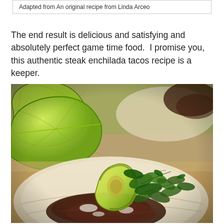Adapted from An original recipe from Linda Arceo
The end result is delicious and satisfying and absolutely perfect game time food.  I promise you, this authentic steak enchilada tacos recipe is a keeper.
[Figure (photo): Close-up photo of steak enchilada tacos on flour tortillas, topped with avocado slices, chopped cilantro, and other toppings, with lime wedges in the background on a wooden surface.]